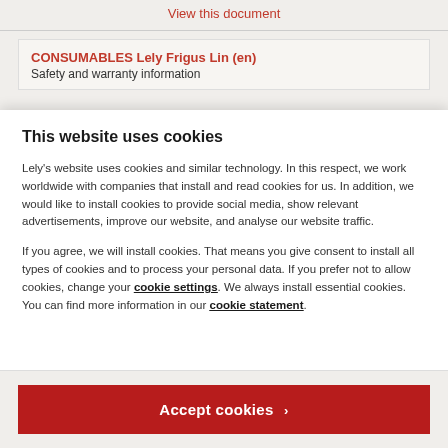View this document
CONSUMABLES Lely Frigus Lin (en)
Safety and warranty information
This website uses cookies
Lely's website uses cookies and similar technology. In this respect, we work worldwide with companies that install and read cookies for us. In addition, we would like to install cookies to provide social media, show relevant advertisements, improve our website, and analyse our website traffic.
If you agree, we will install cookies. That means you give consent to install all types of cookies and to process your personal data. If you prefer not to allow cookies, change your cookie settings. We always install essential cookies. You can find more information in our cookie statement.
Accept cookies